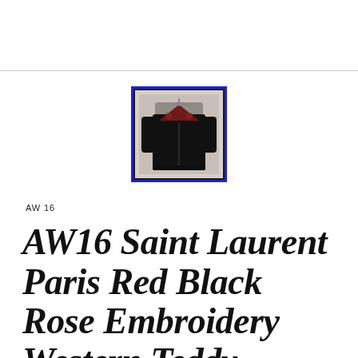[Figure (photo): Black jacket with dark red rose embroidery on shoulders, displayed on a hanger against a light background, shown with a blue border frame]
AW 16
AW16 Saint Laurent Paris Red Black Rose Embroidery Western Teddy